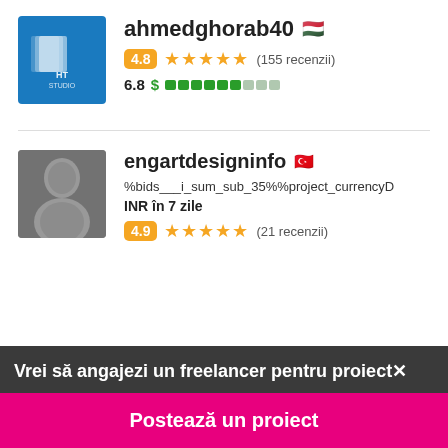[Figure (logo): HT Studio logo - blue square with white text]
ahmedghorab40 🇭🇺
4.8 ★★★★★ (155 recenzii)
6.8 $ ██████░░░
[Figure (photo): Profile photo of engartdesigninfo - black and white portrait]
engartdesigninfo 🇹🇷
%bids___i_sum_sub_35%%project_currencyD
INR în 7 zile
4.9 ★★★★★ (21 recenzii)
Vrei să angajezi un freelancer pentru proiect✕
Postează un proiect